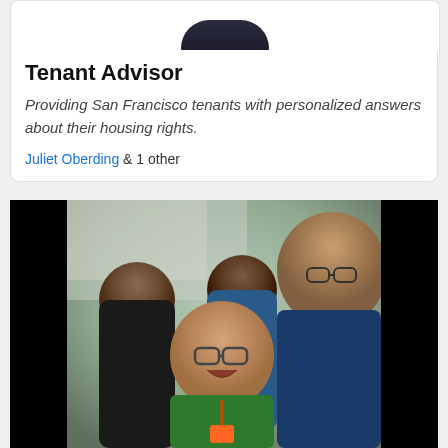[Figure (illustration): Top portion of a dark smart speaker device visible at top of card]
Tenant Advisor
Providing San Francisco tenants with personalized answers about their housing rights.
Juliet Oberding & 1 other
[Figure (photo): Group selfie photo of four people smiling, with black bars on left and right sides. The photo shows a man in a green shirt in the front, another man in a blue shirt, and two other people behind them.]